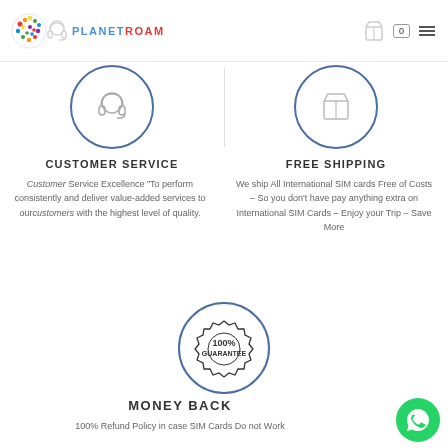[Figure (logo): PlanetRoam logo with colorful globe and headset icon, text PLANETROAM]
[Figure (illustration): Navigation bar with cart icon showing 0 and hamburger menu]
CUSTOMER SERVICE
Customer Service Excellence “To perform consistently and deliver value-added services to our customers with the highest level of quality.
FREE SHIPPING
We ship All International SIM cards Free of Costs – So you don’t have pay anything extra on International SIM Cards – Enjoy your Trip – Save More
[Figure (illustration): 100% Guarantee stamp/badge inside a circle]
MONEY BACK
100% Refund Policy in case SIM Cards Do not Work
[Figure (illustration): WhatsApp chat button (green circle with phone icon)]